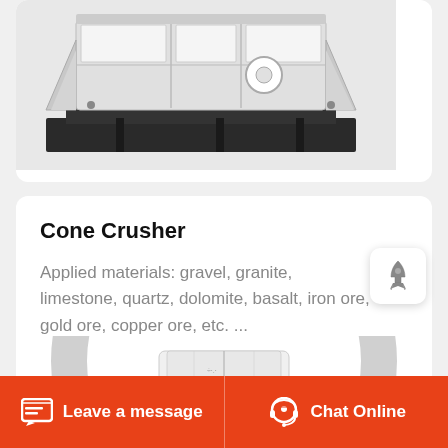[Figure (photo): Industrial jaw crusher machine with white/grey body and black base, viewed from a slightly elevated angle]
Cone Crusher
Applied materials: gravel, granite, limestone, quartz, dolomite, basalt, iron ore, gold ore, copper ore, etc. ...
[Figure (photo): Cone crusher machine shown partially, with circular grey ring frame and white cylindrical body visible from below]
Leave a message   Chat Online